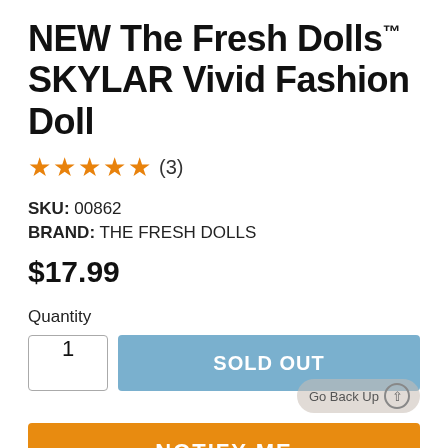NEW The Fresh Dolls™ SKYLAR Vivid Fashion Doll
★★★★★ (3)
SKU: 00862
BRAND: THE FRESH DOLLS
$17.99
Quantity
1
SOLD OUT
Go Back Up
NOTIFY ME
ADD TO WISHLIST